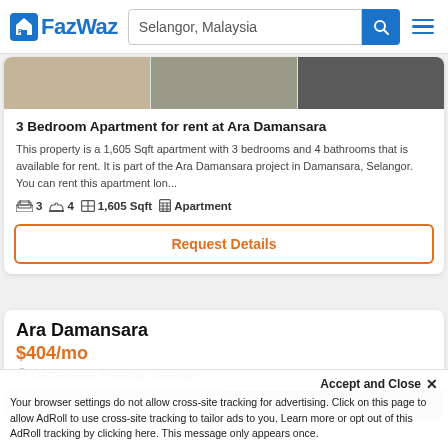FazWaz — Selangor, Malaysia
3 Bedroom Apartment for rent at Ara Damansara
This property is a 1,605 Sqft apartment with 3 bedrooms and 4 bathrooms that is available for rent. It is part of the Ara Damansara project in Damansara, Selangor. You can rent this apartment lon...
3 bedrooms · 4 bathrooms · 1,605 Sqft · Apartment
Request Details
Ara Damansara
$404/mo
Damansara, Petaling, Selangor
Accept and Close ✕
Your browser settings do not allow cross-site tracking for advertising. Click on this page to allow AdRoll to use cross-site tracking to tailor ads to you. Learn more or opt out of this AdRoll tracking by clicking here. This message only appears once.